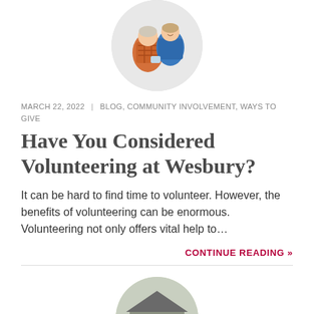[Figure (photo): Circular cropped photo of elderly person with caregiver, smiling, at top of page]
MARCH 22, 2022  |  BLOG, COMMUNITY INVOLVEMENT, WAYS TO GIVE
Have You Considered Volunteering at Wesbury?
It can be hard to find time to volunteer. However, the benefits of volunteering can be enormous. Volunteering not only offers vital help to...
CONTINUE READING »
[Figure (photo): Circular cropped photo of a group of elderly people standing in front of a house, partially visible at bottom of page]